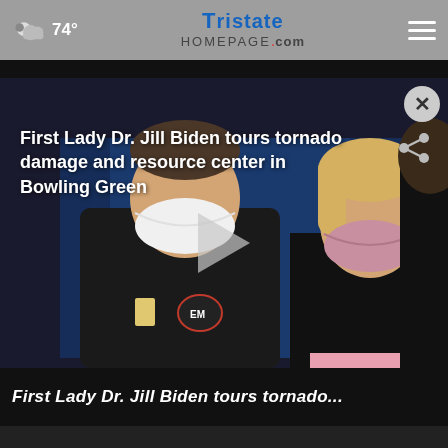☁ 74° | TRISTATE HOMEPAGE.com
[Figure (screenshot): Video thumbnail showing two people wearing face masks, one in a black Emergency Management jacket and one with blonde hair wearing a pink mask, standing before a blue backdrop. A play button overlay is visible.]
First Lady Dr. Jill Biden tours tornado damage and resource center in Bowling Green
First Lady Dr. Jill Biden tours tornado...